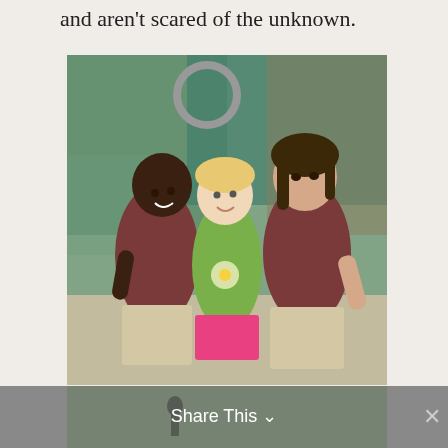and aren't scared of the unknown.
[Figure (photo): Three young school girls smiling and posing together in front of a colorful mural wall. One girl on the left wears a maroon polo shirt and khaki skirt, the girl in the middle wears a green t-shirt and pink shorts, and the girl on the right wears a maroon polo shirt and khaki skirt.]
[Figure (photo): Partial view of another outdoor photo visible at the bottom behind the Share This bar.]
Share This ∨